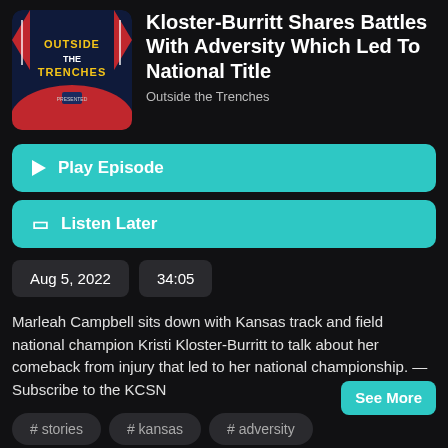[Figure (logo): Outside the Trenches podcast cover art: dark navy background with red banner and golden text 'OUTSIDE THE TRENCHES']
Kloster-Burritt Shares Battles With Adversity Which Led To National Title
Outside the Trenches
Play Episode
Listen Later
Aug 5, 2022
34:05
Marleah Campbell sits down with Kansas track and field national champion Kristi Kloster-Burritt to talk about her comeback from injury that led to her national championship. — Subscribe to the KCSN
See More
# stories
# kansas
# adversity